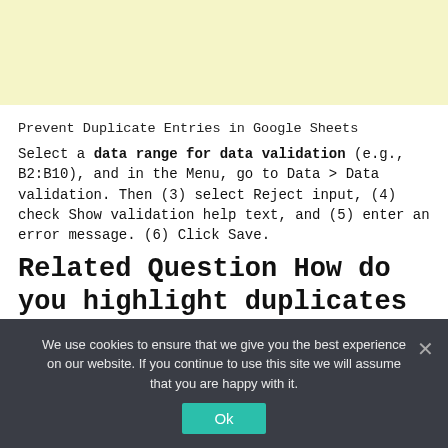[Figure (other): Light yellow advertisement banner at the top of the page]
Prevent Duplicate Entries in Google Sheets
Select a data range for data validation (e.g., B2:B10), and in the Menu, go to Data > Data validation. Then (3) select Reject input, (4) check Show validation help text, and (5) enter an error message. (6) Click Save.
Related Question How do you highlight duplicates in sheets?
We use cookies to ensure that we give you the best experience on our website. If you continue to use this site we will assume that you are happy with it.